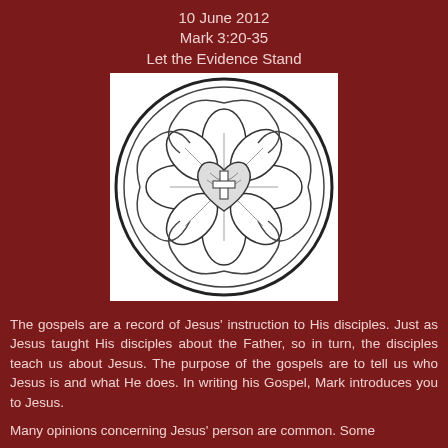10 June 2012
Mark 3:20-35
Let the Evidence Stand
[Figure (illustration): Luther Rose / Lutheran seal: a circular emblem featuring a heart with a cross at the center, surrounded by a white rose with petals and decorative scrollwork, all enclosed in a circle, rendered in black and white engraving style]
The gospels are a record of Jesus' instruction to His disciples. Just as Jesus taught His disciples about the Father, so in turn, the disciples teach us about Jesus. The purpose of the gospels are to tell us who Jesus is and what He does. In writing his Gospel, Mark introduces you to Jesus.
Many opinions concerning Jesus' person are common. Some